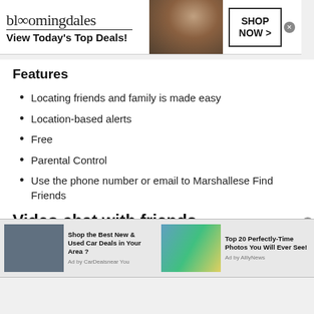[Figure (screenshot): Bloomingdales advertisement banner: logo text 'bloomingdales', tagline 'View Today's Top Deals!', woman in hat image, 'SHOP NOW >' button in box, close X button]
Features
Locating friends and family is made easy
Location-based alerts
Free
Parental Control
Use the phone number or email to Marshallese Find Friends
Video chat with friends
[Figure (screenshot): Bottom advertisement bar with two ads: 'Shop the Best New & Used Car Deals in Your Area?' by CarDealsnear You, and 'Top 20 Perfectly-Time Photos You Will Ever See!' by AlllyNews, with close button]